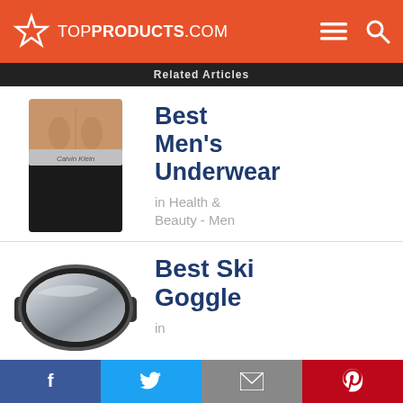TOPPRODUCTS.COM
Related Articles
[Figure (photo): Calvin Klein men's underwear product photo]
Best Men's Underwear
in Health & Beauty - Men
[Figure (photo): Ski goggle product photo - mirrored lens black frame]
Best Ski Goggle
in
f  Twitter bird  Mail  Pinterest